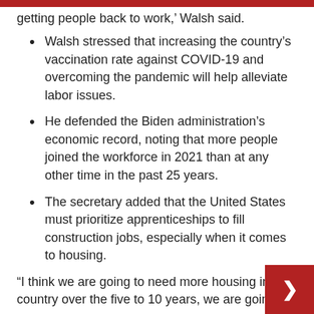getting people back to work,' Walsh said.
Walsh stressed that increasing the country's vaccination rate against COVID-19 and overcoming the pandemic will help alleviate labor issues.
He defended the Biden administration's economic record, noting that more people joined the workforce in 2021 than at any other time in the past 25 years.
The secretary added that the United States must prioritize apprenticeships to fill construction jobs, especially when it comes to housing.
“I think we are going to need more housing in our country over the next five to 10 years, we are going